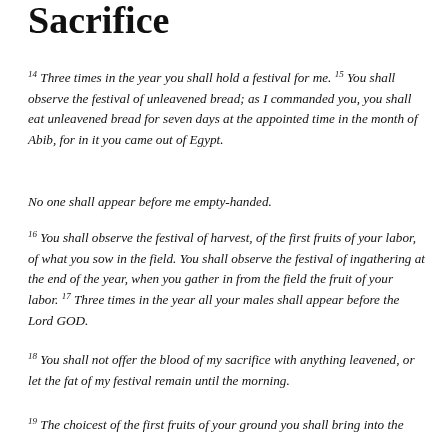Sacrifice
14 Three times in the year you shall hold a festival for me. 15 You shall observe the festival of unleavened bread; as I commanded you, you shall eat unleavened bread for seven days at the appointed time in the month of Abib, for in it you came out of Egypt.
No one shall appear before me empty-handed.
16 You shall observe the festival of harvest, of the first fruits of your labor, of what you sow in the field. You shall observe the festival of ingathering at the end of the year, when you gather in from the field the fruit of your labor. 17 Three times in the year all your males shall appear before the Lord GOD.
18 You shall not offer the blood of my sacrifice with anything leavened, or let the fat of my festival remain until the morning.
19 The choicest of the first fruits of your ground you shall bring into the